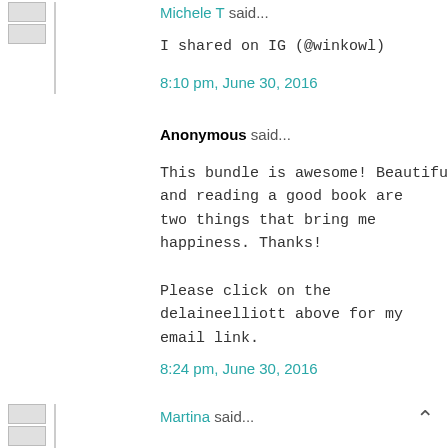Michele T said...
I shared on IG (@winkowl)
8:10 pm, June 30, 2016
Anonymous said...
This bundle is awesome! Beautiful fabric and reading a good book are two things that bring me happiness. Thanks!
Please click on the delaineelliott above for my email link.
8:24 pm, June 30, 2016
Martina said...